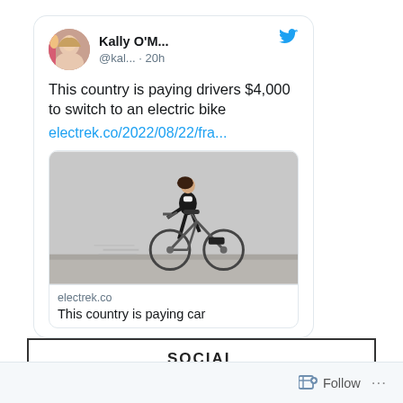[Figure (screenshot): Twitter/X screenshot showing a tweet by Kally O'M... (@kal...) posted 20h ago with text 'This country is paying drivers $4,000 to switch to an electric bike' and a link electrek.co/2022/08/22/fra... with an attached image of a woman riding an electric bicycle, and a link preview card showing electrek.co and 'This country is paying car']
SOCIAL
Follow ...